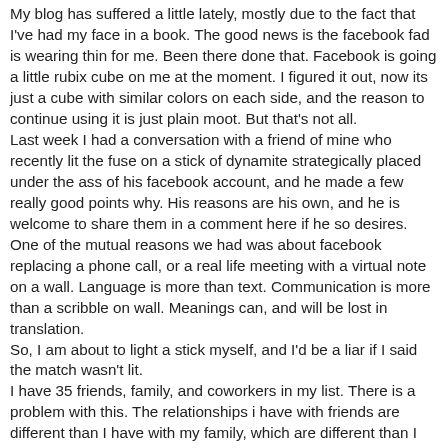My blog has suffered a little lately, mostly due to the fact that I've had my face in a book. The good news is the facebook fad is wearing thin for me. Been there done that. Facebook is going a little rubix cube on me at the moment. I figured it out, now its just a cube with similar colors on each side, and the reason to continue using it is just plain moot. But that's not all.
Last week I had a conversation with a friend of mine who recently lit the fuse on a stick of dynamite strategically placed under the ass of his facebook account, and he made a few really good points why. His reasons are his own, and he is welcome to share them in a comment here if he so desires. One of the mutual reasons we had was about facebook replacing a phone call, or a real life meeting with a virtual note on a wall. Language is more than text. Communication is more than a scribble on wall. Meanings can, and will be lost in translation.
So, I am about to light a stick myself, and I'd be a liar if I said the match wasn't lit.
I have 35 friends, family, and coworkers in my list. There is a problem with this. The relationships i have with friends are different than I have with my family, which are different than I have with my coworkers, but my point is the relationships kind